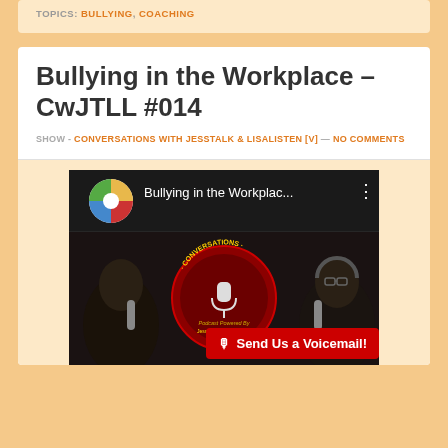TOPICS: BULLYING, COACHING
Bullying in the Workplace – CwJTLL #014
SHOW - CONVERSATIONS WITH JESSTALK & LISALISTEN [V] — NO COMMENTS
[Figure (screenshot): YouTube video thumbnail showing 'Bullying in the Workplac...' with a podcast logo (Conversations with JessTalk & Will Edwards) and two men at microphones in a recording studio. A red 'Send Us a Voicemail!' button appears at the bottom right.]